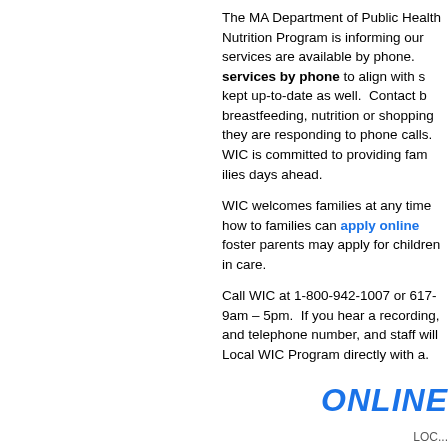The MA Department of Public Health WIC Nutrition Program is informing our families that services are available by phone. All WIC services by phone to align with s... kept up-to-date as well. Contact b... breastfeeding, nutrition or shoppi... they are responding to phone call... WIC is committed to providing fam... days ahead.
WIC welcomes families at any tim... how to families can apply online foster parents may apply for child... care.
Call WIC at 1-800-942-1007 or 61... 9am – 5pm. If you hear a recordin... and telephone number, and staff w... Local WIC Program directly with a...
ONLINE